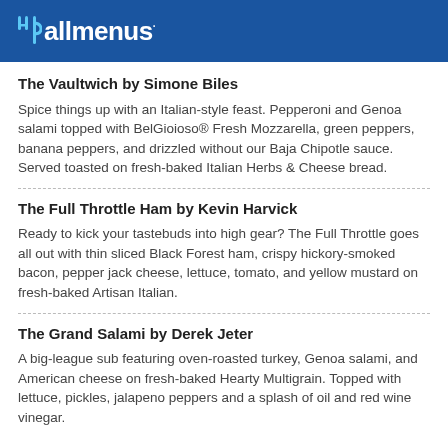allmenus
The Vaultwich by Simone Biles
Spice things up with an Italian-style feast. Pepperoni and Genoa salami topped with BelGioioso® Fresh Mozzarella, green peppers, banana peppers, and drizzled without our Baja Chipotle sauce. Served toasted on fresh-baked Italian Herbs & Cheese bread.
The Full Throttle Ham by Kevin Harvick
Ready to kick your tastebuds into high gear? The Full Throttle goes all out with thin sliced Black Forest ham, crispy hickory-smoked bacon, pepper jack cheese, lettuce, tomato, and yellow mustard on fresh-baked Artisan Italian.
The Grand Salami by Derek Jeter
A big-league sub featuring oven-roasted turkey, Genoa salami, and American cheese on fresh-baked Hearty Multigrain. Topped with lettuce, pickles, jalapeno peppers and a splash of oil and red wine vinegar.